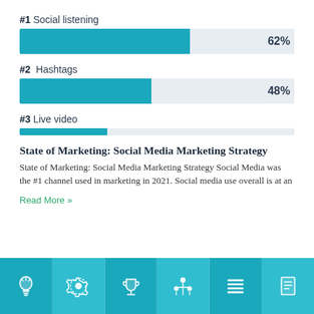[Figure (bar-chart): Top tactics: Social listening, Hashtags, Live video]
State of Marketing: Social Media Marketing Strategy
State of Marketing: Social Media Marketing Strategy Social Media was the #1 channel used in marketing in 2021. Social media use overall is at an
Read More »